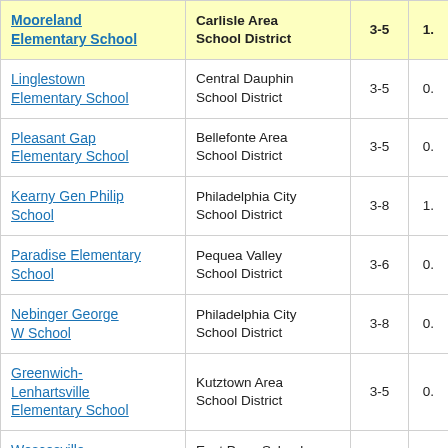| School Name | District | Grades | Value |
| --- | --- | --- | --- |
| Mooreland Elementary School | Carlisle Area School District | 3-5 | 1. |
| Linglestown Elementary School | Central Dauphin School District | 3-5 | 0. |
| Pleasant Gap Elementary School | Bellefonte Area School District | 3-5 | 0. |
| Kearny Gen Philip School | Philadelphia City School District | 3-8 | 1. |
| Paradise Elementary School | Pequea Valley School District | 3-6 | 0. |
| Nebinger George W School | Philadelphia City School District | 3-8 | 0. |
| Greenwich-Lenhartsville Elementary School | Kutztown Area School District | 3-5 | 0. |
| Wescosville Elementary School | East Penn School District | 3-5 | 0. |